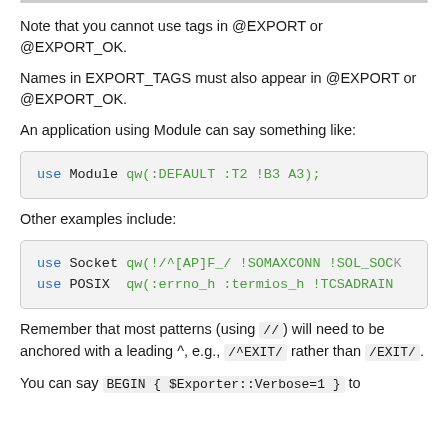Note that you cannot use tags in @EXPORT or @EXPORT_OK.
Names in EXPORT_TAGS must also appear in @EXPORT or @EXPORT_OK.
An application using Module can say something like:
use Module qw(:DEFAULT :T2 !B3 A3);
Other examples include:
use Socket qw(!/^[AP]F_/ !SOMAXCONN !SOL_SOC...
use POSIX  qw(:errno_h :termios_h !TCSADRAIN...
Remember that most patterns (using //) will need to be anchored with a leading ^, e.g., /^EXIT/ rather than /EXIT/.
You can say BEGIN { $Exporter::Verbose=1 } to